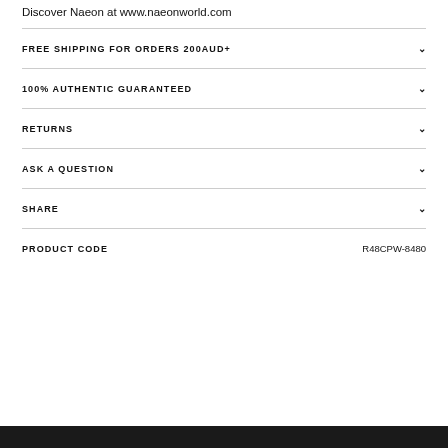Discover Naeon at www.naeonworld.com
FREE SHIPPING FOR ORDERS 200AUD+
100% AUTHENTIC GUARANTEED
RETURNS
ASK A QUESTION
SHARE
PRODUCT CODE  R48CPW-8480